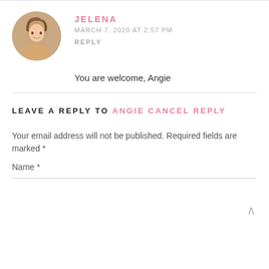[Figure (photo): Circular avatar photo of a woman with blonde hair]
JELENA
MARCH 7, 2020 AT 2:57 PM
REPLY
You are welcome, Angie
LEAVE A REPLY TO ANGIE CANCEL REPLY
Your email address will not be published. Required fields are marked *
Name *